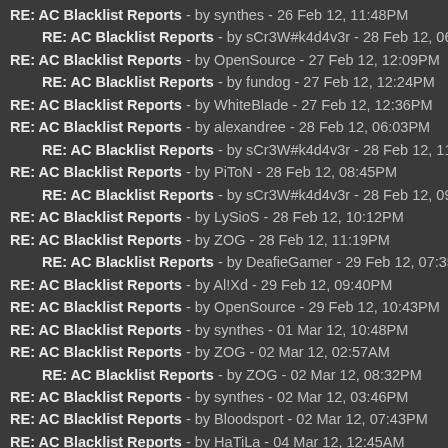RE: AC Blacklist Reports - by synthes - 26 Feb 12, 11:48PM
RE: AC Blacklist Reports - by sCr3W#k4d4v3r - 28 Feb 12, 06:16PM
RE: AC Blacklist Reports - by OpenSource - 27 Feb 12, 12:09PM
RE: AC Blacklist Reports - by fundog - 27 Feb 12, 12:24PM
RE: AC Blacklist Reports - by WhiteBlade - 27 Feb 12, 12:36PM
RE: AC Blacklist Reports - by alexandree - 28 Feb 12, 06:03PM
RE: AC Blacklist Reports - by sCr3W#k4d4v3r - 28 Feb 12, 11:55PM
RE: AC Blacklist Reports - by PiToN - 28 Feb 12, 08:45PM
RE: AC Blacklist Reports - by sCr3W#k4d4v3r - 28 Feb 12, 09:15PM
RE: AC Blacklist Reports - by LySioS - 28 Feb 12, 10:12PM
RE: AC Blacklist Reports - by ZOG - 28 Feb 12, 11:19PM
RE: AC Blacklist Reports - by DeafieGamer - 29 Feb 12, 07:35PM
RE: AC Blacklist Reports - by Al!Xd - 29 Feb 12, 09:40PM
RE: AC Blacklist Reports - by OpenSource - 29 Feb 12, 10:43PM
RE: AC Blacklist Reports - by synthes - 01 Mar 12, 10:48PM
RE: AC Blacklist Reports - by ZOG - 02 Mar 12, 02:57AM
RE: AC Blacklist Reports - by ZOG - 02 Mar 12, 08:32PM
RE: AC Blacklist Reports - by synthes - 02 Mar 12, 03:46PM
RE: AC Blacklist Reports - by Bloodsport - 02 Mar 12, 07:43PM
RE: AC Blacklist Reports - by HaTiLa - 04 Mar 12, 12:45AM
RE: AC Blacklist Reports - by Medabots - 04 Mar 12, 12:47AM
RE: AC Blacklist Reports - by synthes - 04 Mar 12, 04:05AM
RE: AC Blacklist Reports - by Ronald_Reagan - 04 Mar 12, 09:32PM
RE: AC Blacklist Reports - by ExodusS - 04 Mar 12, 10:26PM
RE: AC Blacklist Reports - by ... - 05 Mar 12, 00:4?PM